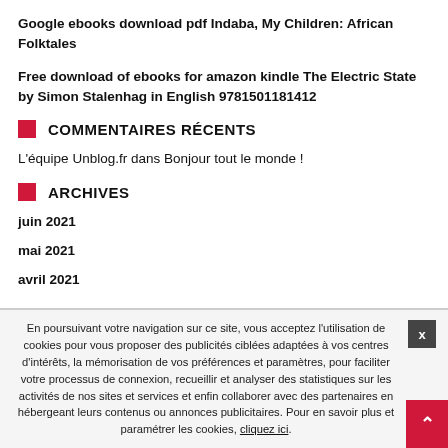Google ebooks download pdf Indaba, My Children: African Folktales
Free download of ebooks for amazon kindle The Electric State by Simon Stalenhag in English 9781501181412
COMMENTAIRES RÉCENTS
L'équipe Unblog.fr dans Bonjour tout le monde !
ARCHIVES
juin 2021
mai 2021
avril 2021
En poursuivant votre navigation sur ce site, vous acceptez l'utilisation de cookies pour vous proposer des publicités ciblées adaptées à vos centres d'intérêts, la mémorisation de vos préférences et paramètres, pour faciliter votre processus de connexion, recueillir et analyser des statistiques sur les activités de nos sites et services et enfin collaborer avec des partenaires en hébergeant leurs contenus ou annonces publicitaires. Pour en savoir plus et paramétrer les cookies, cliquez ici.